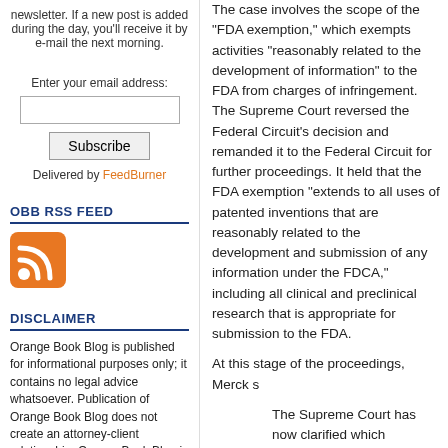newsletter. If a new post is added during the day, you'll receive it by e-mail the next morning.
Enter your email address:
Subscribe
Delivered by FeedBurner
OBB RSS FEED
[Figure (logo): RSS feed orange icon]
DISCLAIMER
Orange Book Blog is published for informational purposes only; it contains no legal advice whatsoever. Publication of Orange Book Blog does not create an attorney-client relationship. Orange Book Blog is Aaron Barkoff's personal website and it is intended for other attorneys.
The case involves the scope of the "FDA exemption," which exempts activities "reasonably related to the development of information" to the FDA from charges of infringement. The Supreme Court reversed the Federal Circuit's decision and remanded it to the Federal Circuit for further proceedings. It held that the FDA exemption "extends to all uses of patented inventions that are reasonably related to the development and submission of any information under the FDCA," including all clinical and preclinical research that is appropriate for submission to the FDA.
At this stage of the proceedings, Merck s
The Supreme Court has now clarified which standard immunizes an experiment from patent infringement: (1) it is reasonable for a scientist to believe that a drug "may work through a particular biological process to produce a particular physiological effect"; and (2) the patented compound in research that, if successful, a company would include in a submission to the FDA. The Court noted that at the time Scripps scientists conducted the experiments at issue here, Merck and Scripps had hopes that the compounds shrank tumors in animal studies. The experiment was reasonably designed to test that hypothesis, the Supreme Court has confirmed